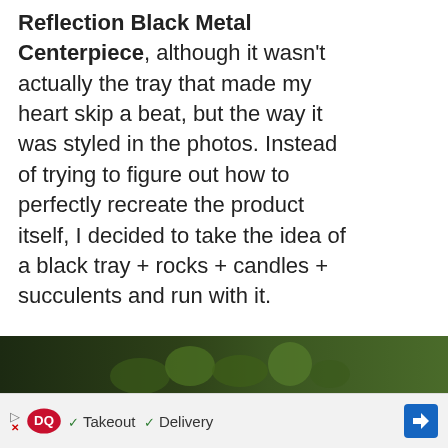Reflection Black Metal Centerpiece, although it wasn't actually the tray that made my heart skip a beat, but the way it was styled in the photos. Instead of trying to figure out how to perfectly recreate the product itself, I decided to take the idea of a black tray + rocks + candles + succulents and run with it.

I ended up with a completely different end result than my initial inspiration, but I absolutely love how it turned out!
[Figure (photo): Bottom strip showing a dark tray with green succulents/plants]
[Figure (screenshot): Advertisement bar: Dairy Queen logo with checkmarks for Takeout and Delivery, blue navigation arrow icon on right]